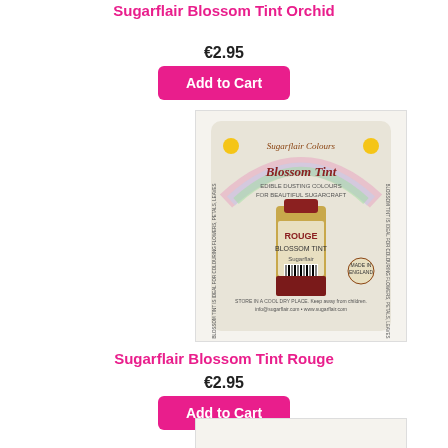Sugarflair Blossom Tint Orchid
€2.95
Add to Cart
[Figure (photo): Product photo of Sugarflair Blossom Tint Rouge powder colour in packaging]
Sugarflair Blossom Tint Rouge
€2.95
Add to Cart
[Figure (photo): Partial product photo of another Sugarflair Blossom Tint product at bottom of page]